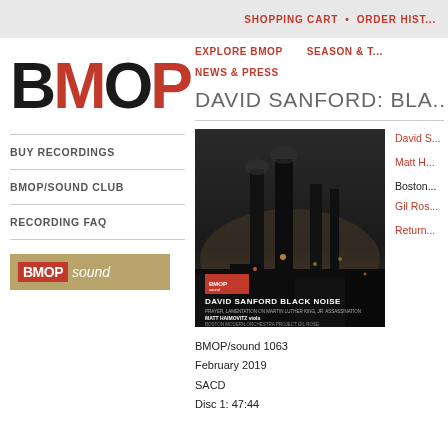SHOPPING CART • ORDER HISTORY
BMOP
BUY RECORDINGS
BMOP/SOUND CLUB
RECORDING FAQ
[Figure (logo): BMOP/sound badge logo with red BMOP text on gold background]
EXPLORE BMOP   SEASON & T...   NEWS & PRESS
DAVID SANFORD: BLA...
[Figure (photo): Album cover for David Sanford: Black Noise showing industrial landscape at night with smokestacks]
David S...
Matt H...
Boston...
Gil Ros...
Return...
BMOP/sound 1063
February 2019
SACD
Disc 1: 47:44